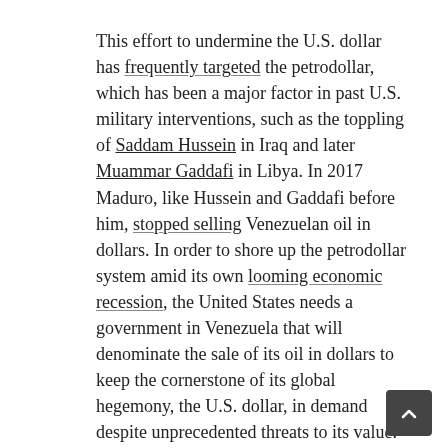This effort to undermine the U.S. dollar has frequently targeted the petrodollar, which has been a major factor in past U.S. military interventions, such as the toppling of Saddam Hussein in Iraq and later Muammar Gaddafi in Libya. In 2017 Maduro, like Hussein and Gaddafi before him, stopped selling Venezuelan oil in dollars. In order to shore up the petrodollar system amid its own looming economic recession, the United States needs a government in Venezuela that will denominate the sale of its oil in dollars to keep the cornerstone of its global hegemony, the U.S. dollar, in demand despite unprecedented threats to its value.
Thus, with neither the U.S. nor its rivals able to back down without ceding a major geopolitical and strategic advantage to the other, it is almost assured that, as the situation in Venezuela escalates, the involvement of all three will soon make Venezuela the most watched country — and the most dangerous — in the world.